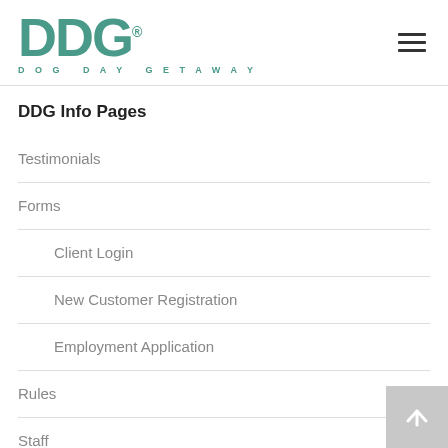[Figure (logo): DDG Dog Day Getaway logo with teal letters and registered trademark symbol]
DDG Info Pages
Testimonials
Forms
Client Login
New Customer Registration
Employment Application
Rules
Staff